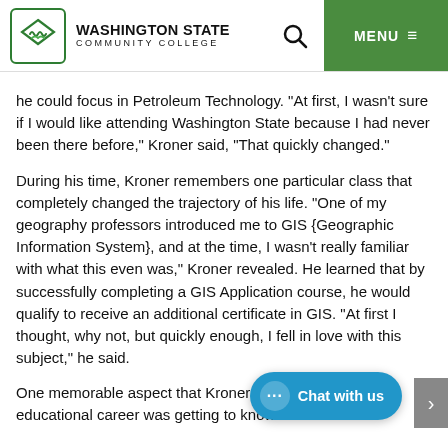Washington State Community College
he could focus in Petroleum Technology. “At first, I wasn’t sure if I would like attending Washington State because I had never been there before,” Kroner said, “That quickly changed.”
During his time, Kroner remembers one particular class that completely changed the trajectory of his life. “One of my geography professors introduced me to GIS {Geographic Information System}, and at the time, I wasn’t really familiar with what this even was,” Kroner revealed. He learned that by successfully completing a GIS Application course, he would qualify to receive an additional certificate in GIS. “At first I thought, why not, but quickly enough, I fell in love with this subject,” he said.
One memorable aspect that Kroner attributes to his educational career was getting to know some of his